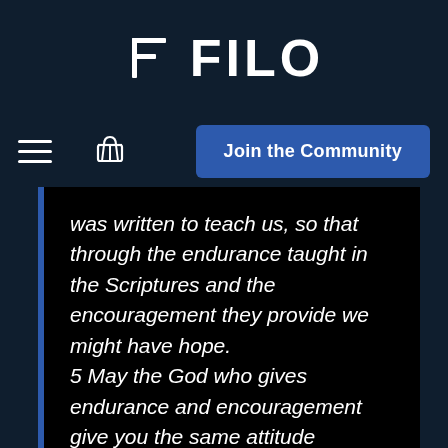[Figure (logo): FILO logo with stylized F icon and bold text FILO]
Join the Community
was written to teach us, so that through the endurance taught in the Scriptures and the encouragement they provide we might have hope.

5 May the God who gives endurance and encouragement give you the same attitude